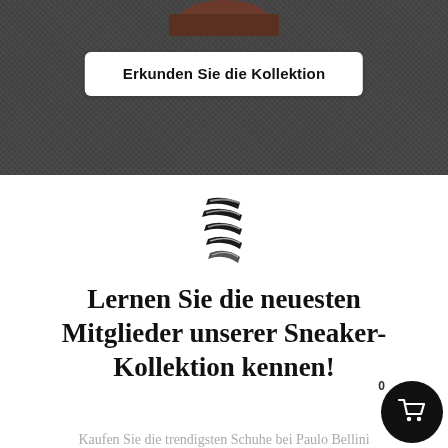[Figure (photo): Dark grey textured background (asphalt/fabric) with a brown leather shoe toe visible at the top center]
Erkunden Sie die Kollektion
[Figure (logo): Stylized double-S or DNA helix logo in black and grey]
Lernen Sie die neuesten Mitglieder unserer Sneaker-Kollektion kennen!
Kaufen Sie die trendigsten Schuhe bei Paulo Bellini